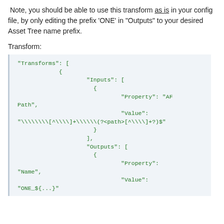Note, you should be able to use this transform as is in your config file, by only editing the prefix 'ONE' in "Outputs" to your desired Asset Tree name prefix.
Transform:
[Figure (screenshot): Code block showing JSON transform configuration with Transforms array containing Inputs with Property 'AF Path' and Value regex pattern, and Outputs with Property 'Name' and Value starting with 'ONE_${...}']